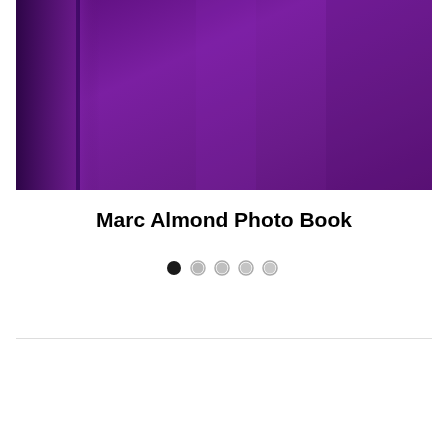[Figure (photo): Purple book cover photo, close-up of a deep violet/purple book with visible spine crease and subtle texture variations]
Marc Almond Photo Book
[Figure (infographic): Carousel pagination dots: 5 dots, first dot is black/active, remaining four are light grey/inactive]